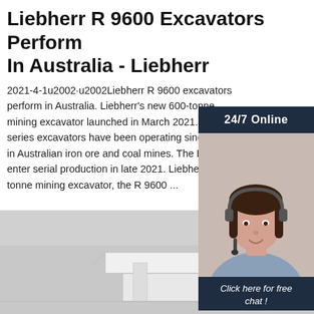Liebherr R 9600 Excavators Perform In Australia - Liebherr
2021-4-1u2002·u2002Liebherr R 9600 excavators perform in Australia. Liebherr's new 600-tonne hydraulic mining excavator launched in March 2021. R 9 series excavators have been operating since e in Australian iron ore and coal mines. The R 9 enter serial production in late 2021. Liebherr's tonne mining excavator, the R 9600 ...
[Figure (photo): Customer service representative with headset, dark background with 24/7 Online label and chat widget]
[Figure (photo): Industrial equipment or interior scene, light grey tones, partial view of machinery or structure]